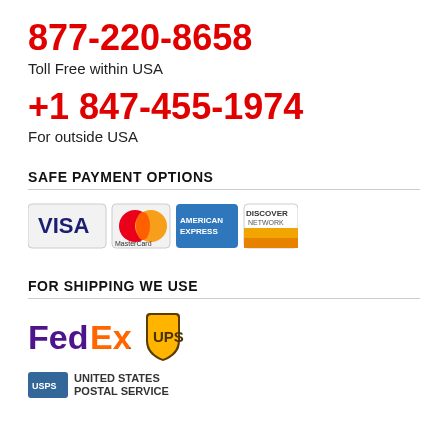877-220-8658
Toll Free within USA
+1 847-455-1974
For outside USA
SAFE PAYMENT OPTIONS
[Figure (logo): Payment method logos: VISA, MasterCard, American Express, Discover Network]
FOR SHIPPING WE USE
[Figure (logo): Shipping carrier logos: FedEx, UPS, United States Postal Service]